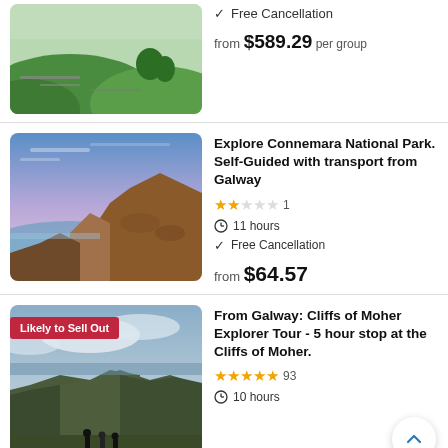[Figure (photo): Green rolling hills with stone walls and sheep, Irish countryside]
✓ Free Cancellation
from $589.29 per group
[Figure (photo): Rocky coastline with water and dramatic sky, Connemara National Park]
Explore Connemara National Park. Self-Guided with transport from Galway
★★☆☆☆ 1
11 hours
✓ Free Cancellation
from $64.57
[Figure (photo): Cliffs of Moher with people standing in foreground, cloudy sky, badge: Likely to Sell Out]
From Galway: Cliffs of Moher Explorer Tour - 5 hour stop at the Cliffs of Moher.
★★★★★ 93
10 hours